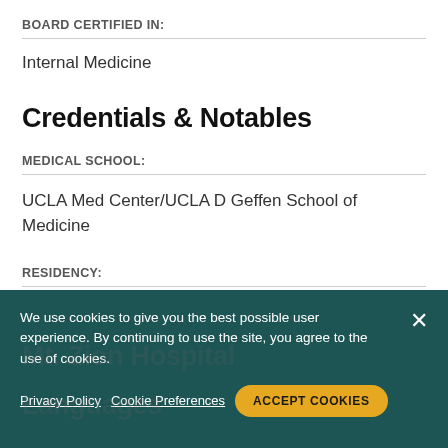BOARD CERTIFIED IN:
Internal Medicine
Credentials & Notables
MEDICAL SCHOOL:
UCLA Med Center/UCLA D Geffen School of Medicine
RESIDENCY:
We use cookies to give you the best possible user experience. By continuing to use the site, you agree to the use of cookies.
Privacy Policy   Cookie Preferences   ACCEPT COOKIES